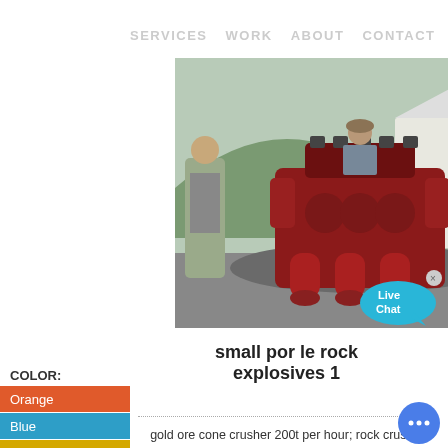SERVICES  WORK  ABOUT  CONTACT
[Figure (photo): Workers assembling or inspecting a large red industrial rock crusher or drilling machine outdoors, with mountains and a white tent in the background.]
small por le rock explosives 1
COLOR:
Orange
Blue
Yellow
gold ore cone crusher 200t per hour; rock crushers limits; Saudi Vacancies Cement Plant; barford big jaw 55 15 ton rock crusher dumper parts; gold stampmill